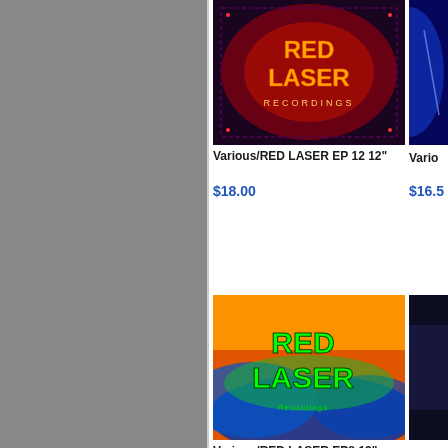[Figure (photo): Album cover for Various/RED LASER EP 12 - psychedelic red and purple art with RED LASER RECORDINGS text]
Various/RED LASER EP 12 12"
$18.00
[Figure (photo): Partial blue album cover visible at right edge]
Vario...
$16.5...
[Figure (photo): Album cover for Various/RED LASER EP8 - colorful green/orange/blue psychedelic RED LASER art]
Various/RED LASER EP8 12"
$16.50
[Figure (photo): Partial dark album cover at right edge, Various/... SPE... $19.5...]
[Figure (photo): Partial black album cover visible at bottom]